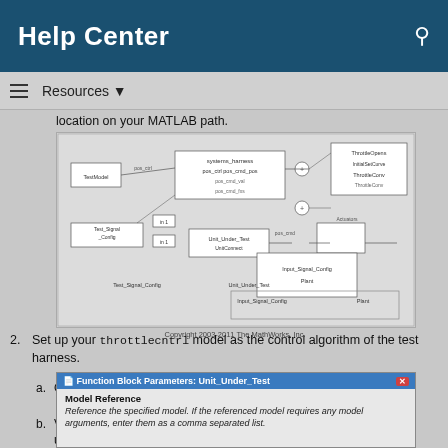Help Center
location on your MATLAB path.
[Figure (screenshot): Simulink block diagram of a test harness showing systems_harness model with blocks including TestModel, pos_ctrl, Input_Signal_Scaling, Unit_Under_Test, and connections to ThrottleOpens, InitialSetCurve, ThrottleConv components]
Copyright 2003-2011 The MathWorks, Inc.
Set up your throttlecntrl model as the control algorithm of the test harness.
Open the Unit_Under_Test block and view the control algorithm.
View the model reference parameters by right-clicking the Unit_Under_Test block and selecting Block Parameters (ModelReference).
[Figure (screenshot): Function Block Parameters: Unit_Under_Test dialog box showing Model Reference section with text: Reference the specified model. If the referenced model requires any model arguments, enter them as a comma separated list.]